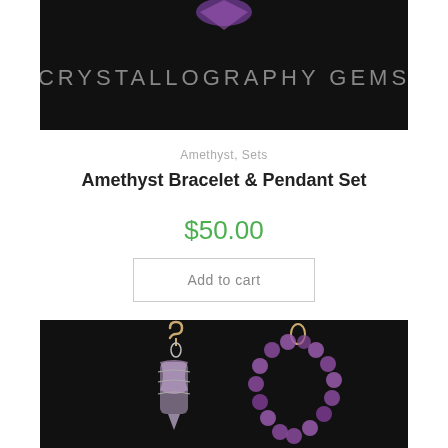[Figure (photo): Dark banner with 'CRYSTALLOGRAPHY GEMS' text in gray on black background]
Amethyst, Sets
Amethyst Bracelet & Pendant Set
$50.00
Add to cart
[Figure (photo): Photo of amethyst crystal pendant with wire wrapping and hook clasp on left, and amethyst bead bracelet arched on right, both on black background]